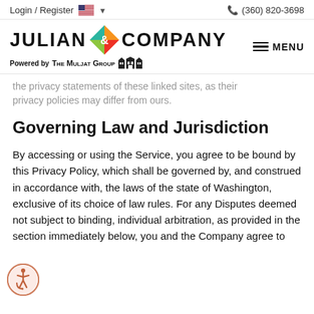Login / Register   (360) 820-3698
[Figure (logo): Julian & Company logo with colorful diamond ampersand, Powered by The Muljat Group with building icon, and MENU button]
the privacy statements of these linked sites, as their privacy policies may differ from ours.
Governing Law and Jurisdiction
By accessing or using the Service, you agree to be bound by this Privacy Policy, which shall be governed by, and construed in accordance with, the laws of the state of Washington, exclusive of its choice of law rules. For any Disputes deemed not subject to binding, individual arbitration, as provided in the section immediately below, you and the Company agree to